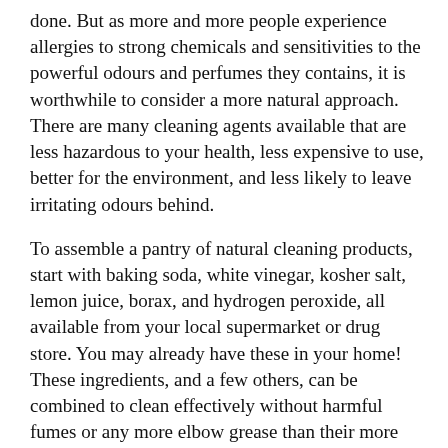done. But as more and more people experience allergies to strong chemicals and sensitivities to the powerful odours and perfumes they contains, it is worthwhile to consider a more natural approach. There are many cleaning agents available that are less hazardous to your health, less expensive to use, better for the environment, and less likely to leave irritating odours behind.
To assemble a pantry of natural cleaning products, start with baking soda, white vinegar, kosher salt, lemon juice, borax, and hydrogen peroxide, all available from your local supermarket or drug store. You may already have these in your home! These ingredients, and a few others, can be combined to clean effectively without harmful fumes or any more elbow grease than their more toxic counterparts.
Try these simple recipes to tackle some of your toughest cleaning tasks naturally: